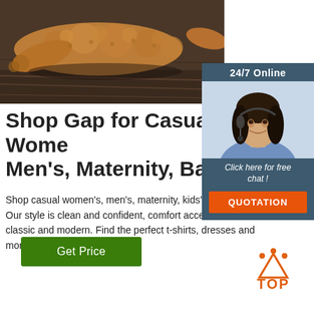[Figure (photo): Close-up photo of ginger root on a dark wooden surface]
[Figure (infographic): 24/7 Online chat widget with a female customer service agent wearing a headset, with a 'Click here for free chat!' prompt and an orange QUOTATION button]
Shop Gap for Casual Wome Men's, Maternity, Baby &
Shop casual women's, men's, maternity, kids' & b at Gap. Our style is clean and confident, comfort accessible, classic and modern. Find the perfect t-shirts, dresses and more for the whole family.
[Figure (other): Green 'Get Price' button]
[Figure (logo): Orange TOP logo with dots above the text arranged in an arc]